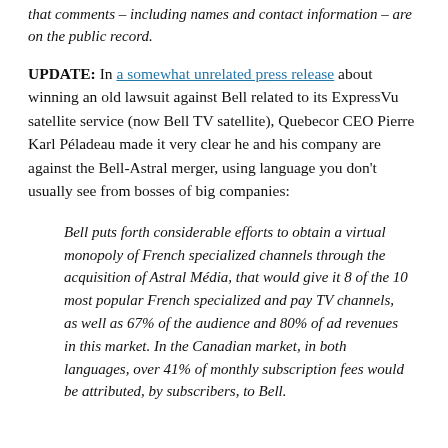that comments – including names and contact information – are on the public record.
UPDATE: In a somewhat unrelated press release about winning an old lawsuit against Bell related to its ExpressVu satellite service (now Bell TV satellite), Quebecor CEO Pierre Karl Péladeau made it very clear he and his company are against the Bell-Astral merger, using language you don't usually see from bosses of big companies:
Bell puts forth considerable efforts to obtain a virtual monopoly of French specialized channels through the acquisition of Astral Média, that would give it 8 of the 10 most popular French specialized and pay TV channels, as well as 67% of the audience and 80% of ad revenues in this market. In the Canadian market, in both languages, over 41% of monthly subscription fees would be attributed, by subscribers, to Bell.